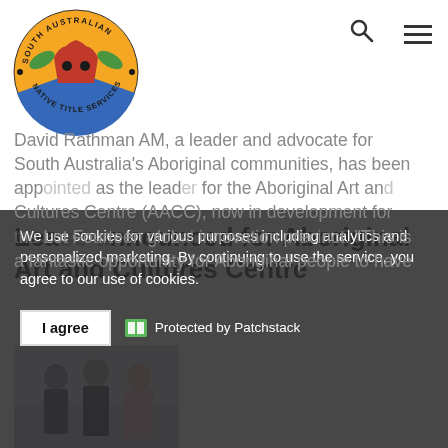[Figure (logo): South Australian Native Title Services circular logo with Aboriginal motif]
Lease announced for Aboriginal Art and Cultures Centre
[Figure (photo): Three people standing together — two men in suits and a woman in a floral dress]
David Rathman AM, a leader and advocate for South Australia's Aboriginal communities, has been appointed as the leader for the Aboriginal Art and Cultures Centre (AACC), now in development for the Lot Fourteen global innovation precinct. "This is a fantastic opportunity for Aboriginal people to have
We use cookies for various purposes including analytics and personalized marketing. By continuing to use the service, you agree to our use of cookies.
I agree
Protected by Patchstack